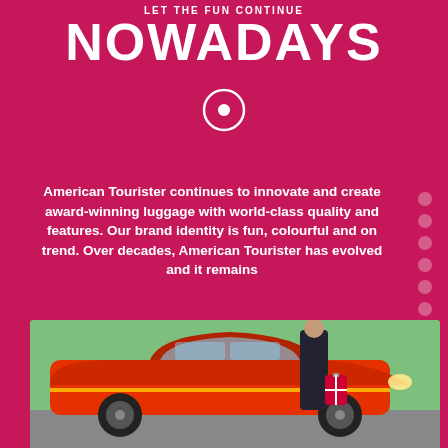Let the fun continue
NOWADAYS
[Figure (illustration): Circular target/bullseye icon in white outline]
American Tourister continues to innovate and create award-winning luggage with world-class quality and features. Our brand identity is fun, colourful and on trend. Over decades, American Tourister has evolved and it remains
TRUSTED ALL OVER THE WORLD SINCE 1933!
[Figure (photo): Person standing next to a vintage red classic American car, holding luggage with a red ribbon/tag, outdoors with a pastel green wall background.]